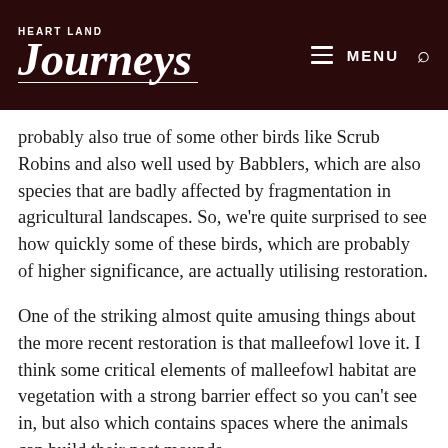Heart Land Journeys — MENU
probably also true of some other birds like Scrub Robins and also well used by Babblers, which are also species that are badly affected by fragmentation in agricultural landscapes. So, we're quite surprised to see how quickly some of these birds, which are probably of higher significance, are actually utilising restoration.
One of the striking almost quite amusing things about the more recent restoration is that malleefowl love it. I think some critical elements of malleefowl habitat are vegetation with a strong barrier effect so you can't see in, but also which contains spaces where the animals can build their nest mounds.